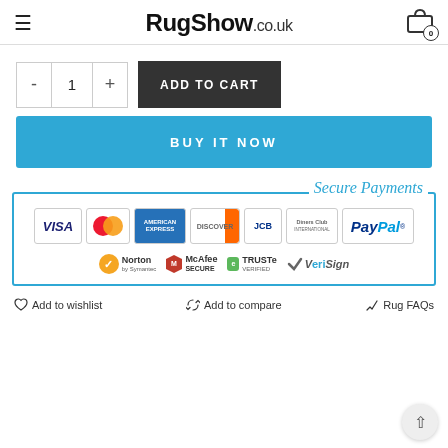RugShow.co.uk
[Figure (screenshot): ADD TO CART button with quantity selector (- 1 +) and BUY IT NOW button]
[Figure (infographic): Secure Payments panel with payment logos: VISA, MasterCard, American Express, Discover, JCB, Diners Club, PayPal, and trust badges: Norton by Symantec, McAfee SECURE, TRUSTe Verified, VeriSign]
Add to wishlist   Add to compare   Rug FAQs